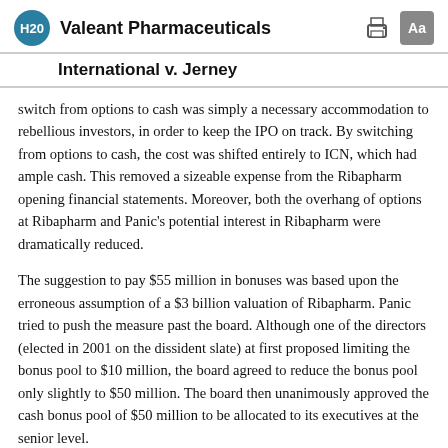Valeant Pharmaceuticals
International v. Jerney
switch from options to cash was simply a necessary accommodation to rebellious investors, in order to keep the IPO on track. By switching from options to cash, the cost was shifted entirely to ICN, which had ample cash. This removed a sizeable expense from the Ribapharm opening financial statements. Moreover, both the overhang of options at Ribapharm and Panic's potential interest in Ribapharm were dramatically reduced.
The suggestion to pay $55 million in bonuses was based upon the erroneous assumption of a $3 billion valuation of Ribapharm. Panic tried to push the measure past the board. Although one of the directors (elected in 2001 on the dissident slate) at first proposed limiting the bonus pool to $10 million, the board agreed to reduce the bonus pool only slightly to $50 million. The board then unanimously approved the cash bonus pool of $50 million to be allocated to its executives at the senior level.